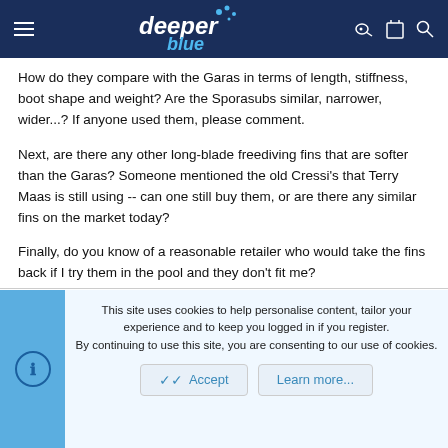deeper blue
How do they compare with the Garas in terms of length, stiffness, boot shape and weight? Are the Sporasubs similar, narrower, wider...? If anyone used them, please comment.
Next, are there any other long-blade freediving fins that are softer than the Garas? Someone mentioned the old Cressi's that Terry Maas is still using -- can one still buy them, or are there any similar fins on the market today?
Finally, do you know of a reasonable retailer who would take the fins back if I try them in the pool and they don't fit me?
Thanks for help!
This site uses cookies to help personalise content, tailor your experience and to keep you logged in if you register.
By continuing to use this site, you are consenting to our use of cookies.